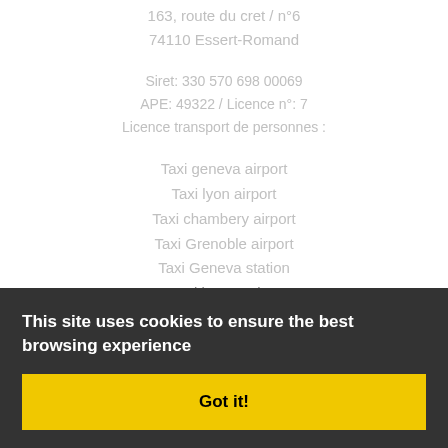163, route du cret / n°6
74110 Essert-Romand
Siret: 330 570 698 00069
APE: 49322 / Licence n°: 7
Licence transport de personnes :
Taxi geneva airport
Taxi lyon airport
Taxi chambery airport
Taxi Grenoble airport
Taxi Geneva station
Taxi lyon station
Taxi bellegarde station
Taxi annemasse station
Taxi thonon station
Taxi cluses station
Taxi Morzine
Taxi Avoriaz
This site uses cookies to ensure the best browsing experience
Got it!